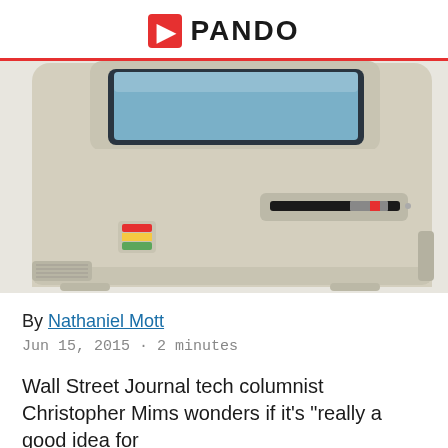PANDO
[Figure (photo): Close-up photo of a vintage Apple Macintosh computer showing the beige casing, floppy disk drive slot with a floppy inserted, and the rainbow Apple logo badge. The monitor screen is partially visible at the top.]
By Nathaniel Mott
Jun 15, 2015 · 2 minutes
Wall Street Journal tech columnist Christopher Mims wonders if it's "really a good idea for